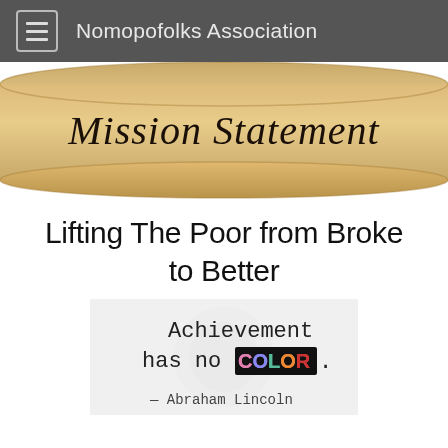Nomopofolks Association
[Figure (illustration): A decorative scroll/parchment image with cursive text reading 'Mission Statement']
Lifting The Poor from Broke to Better
[Figure (illustration): A quote image on light background with decorative pattern. Text: 'Achievement has no COLOR.' with COLOR in multicolored letters on black box, attributed to Abraham Lincoln]